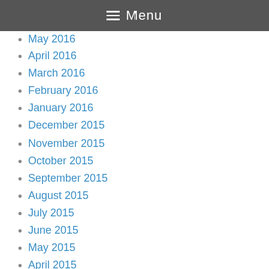Menu
May 2016
April 2016
March 2016
February 2016
January 2016
December 2015
November 2015
October 2015
September 2015
August 2015
July 2015
June 2015
May 2015
April 2015
March 2015
February 2015
January 2015
December 2014
November 2014
October 2014
September 2014